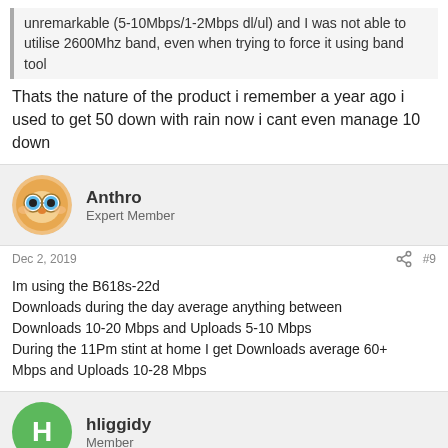unremarkable (5-10Mbps/1-2Mbps dl/ul) and I was not able to utilise 2600Mhz band, even when trying to force it using band tool
Thats the nature of the product i remember a year ago i used to get 50 down with rain now i cant even manage 10 down
Anthro
Expert Member
Dec 2, 2019
#9
Im using the B618s-22d
Downloads during the day average anything between
Downloads 10-20 Mbps and Uploads 5-10 Mbps
During the 11Pm stint at home I get Downloads average 60+ Mbps and Uploads 10-28 Mbps
hliggidy
Member